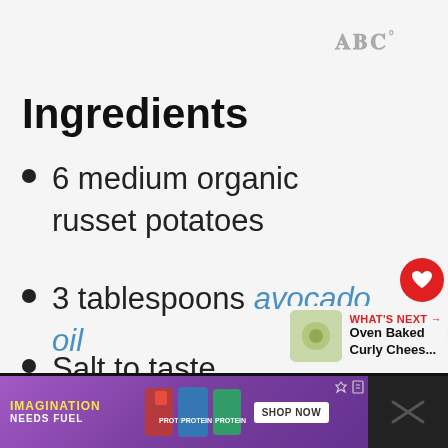w°
Ingredients
6 medium organic russet potatoes
3 tablespoons avocado oil
Salt to taste
[Figure (other): Promotional advertisement banner: 'IMAGINATION NEEDS FUEL' with CLIF protein bar products and SHOP NOW button]
WHAT'S NEXT → Oven Baked Curly Chees...